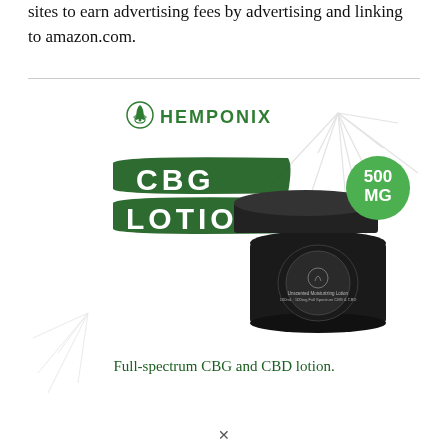sites to earn advertising fees by advertising and linking to amazon.com.
[Figure (illustration): Hemponix CBG Lotion product advertisement image showing a black jar of lotion with the Hemponix logo, text 'CBG LOTION' on dark green brushstroke backgrounds, a green circle badge reading '500 MG', and caption 'Full-spectrum CBG and CBD lotion.']